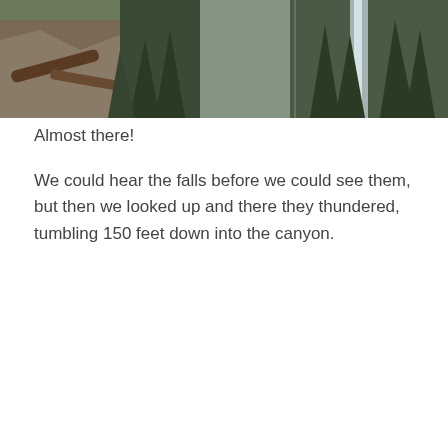[Figure (photo): Outdoor landscape photo showing a rocky forested canyon scene with evergreen trees, fallen logs, rocky terrain on the left, and a waterfall or stream visible through the trees on the right side.]
Almost there!
We could hear the falls before we could see them, but then we looked up and there they thundered, tumbling 150 feet down into the canyon.